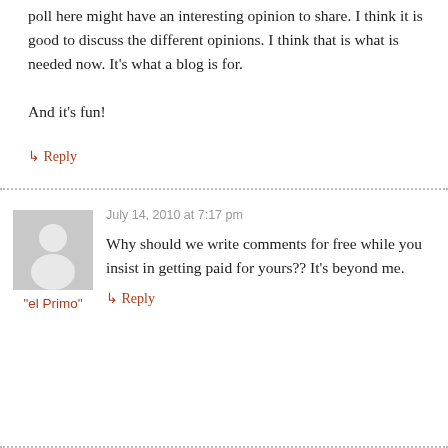poll here might have an interesting opinion to share. I think it is good to discuss the different opinions. I think that is what is needed now. It's what a blog is for.

And it's fun!
↳ Reply
July 14, 2010 at 7:17 pm
"el Primo"
Why should we write comments for free while you insist in getting paid for yours?? It's beyond me.
↳ Reply